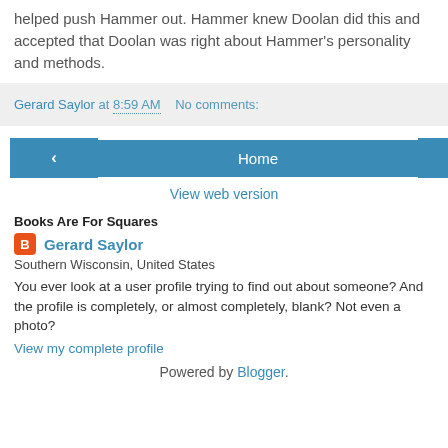helped push Hammer out. Hammer knew Doolan did this and accepted that Doolan was right about Hammer's personality and methods.
Gerard Saylor at 8:59 AM   No comments:
[Figure (other): Navigation bar with left arrow button, Home button, and right arrow button]
View web version
Books Are For Squares
Gerard Saylor
Southern Wisconsin, United States
You ever look at a user profile trying to find out about someone? And the profile is completely, or almost completely, blank? Not even a photo?
View my complete profile
Powered by Blogger.